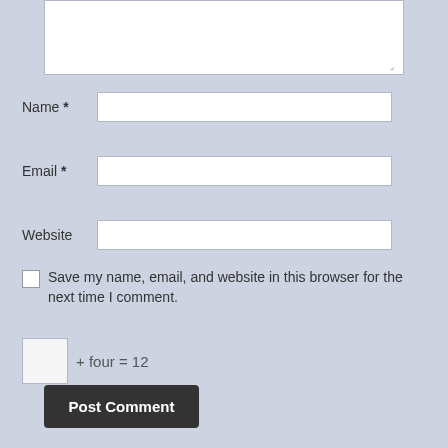[Figure (screenshot): Textarea input box (comment field) at top of page]
Name *
Email *
Website
Save my name, email, and website in this browser for the next time I comment.
Post Comment